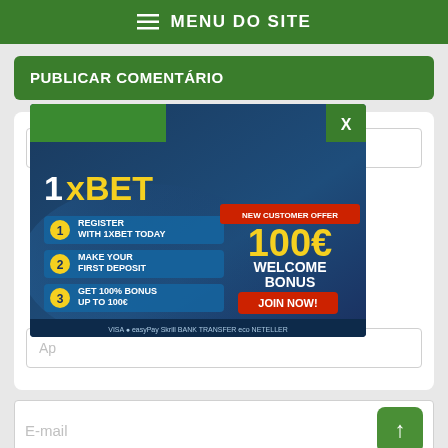MENU DO SITE
PUBLICAR COMENTÁRIO
[Figure (illustration): 1xBET advertisement banner showing football players, 100€ welcome bonus offer, register steps]
No
Ap
E-mail